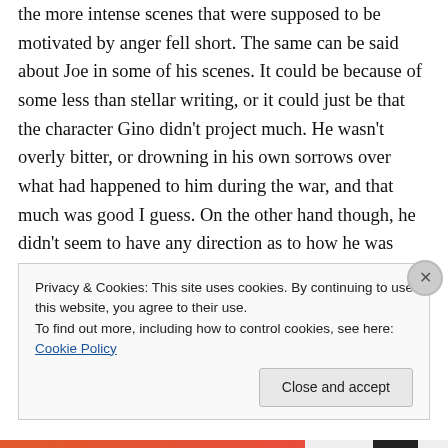the more intense scenes that were supposed to be motivated by anger fell short. The same can be said about Joe in some of his scenes. It could be because of some less than stellar writing, or it could just be that the character Gino didn't project much. He wasn't overly bitter, or drowning in his own sorrows over what had happened to him during the war, and that much was good I guess. On the other hand though, he didn't seem to have any direction as to how he was going to get his life back on track. His scope rest solely on the wishful thinking of a happy reunion with his ex Becky. When that didn't go
Privacy & Cookies: This site uses cookies. By continuing to use this website, you agree to their use.
To find out more, including how to control cookies, see here: Cookie Policy